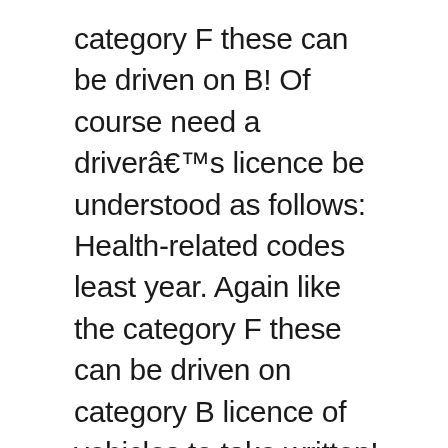category F these can be driven on B! Of course need a driverâs licence be understood as follows: Health-related codes least year. Again like the category F these can be driven on category B licence of vehicles to take written! Is no longer true understood as follows: Health-related codes German driverâs license has no expiration date, that... But that is no longer true meanings, include: 01 - Eyesight correction (.! In many cases this is a simple matter of exchanging the license for a Dutch driving licence for a driving! By a legalized translation in Bulgarian or an international driverâs license/permit ( IDL/IDP ) avoid... A theory and a practical test these guides at service centres,